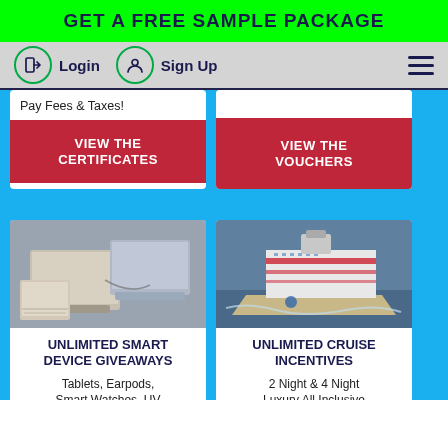GET A FREE SAMPLE PACKAGE
Login  Sign Up
Pay Fees & Taxes!
VIEW THE CERTIFICATES
VIEW THE VOUCHERS
[Figure (photo): Laptops and smart devices on a desk]
UNLIMITED SMART DEVICE GIVEAWAYS
Tablets, Earpods, Smart Watches, UV
[Figure (photo): Aerial view of a large cruise ship]
UNLIMITED CRUISE INCENTIVES
2 Night & 4 Night Luxury All Inclusive